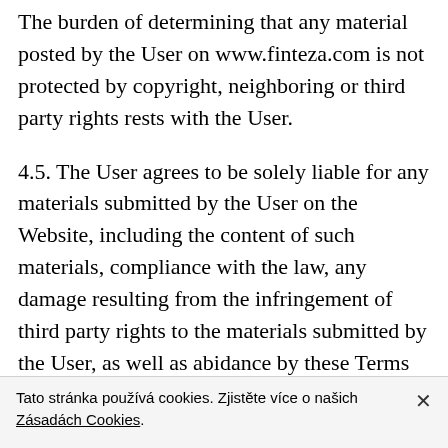The burden of determining that any material posted by the User on www.finteza.com is not protected by copyright, neighboring or third party rights rests with the User.
4.5. The User agrees to be solely liable for any materials submitted by the User on the Website, including the content of such materials, compliance with the law, any damage resulting from the infringement of third party rights to the materials submitted by the User, as well as abidance by these Terms of Use, Additional Terms and Additional Agreements. MetaQuotes Ltd shall not be responsible for the materials submitted by the User on www.finteza.com. The User shall compensate for any
Tato stránka používá cookies. Zjistěte více o našich Zásadách Cookies.